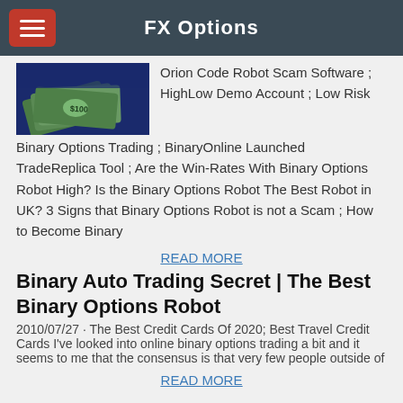FX Options
[Figure (photo): Photo of US dollar cash bills fanned out on a dark blue background]
Orion Code Robot Scam Software ; HighLow Demo Account ; Low Risk Binary Options Trading ; BinaryOnline Launched TradeReplica Tool ; Are the Win-Rates With Binary Options Robot High? Is the Binary Options Robot The Best Robot in UK? 3 Signs that Binary Options Robot is not a Scam ; How to Become Binary
READ MORE
Binary Auto Trading Secret | The Best Binary Options Robot
2010/07/27 · The Best Credit Cards Of 2020; Best Travel Credit Cards I've looked into online binary options trading a bit and it seems to me that the consensus is that very few people outside of
READ MORE